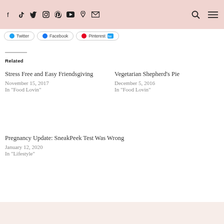Social media navigation icons and search/menu buttons
[Figure (screenshot): Three share buttons: Twitter, Facebook, Pinterest]
Related
Stress Free and Easy Friendsgiving
November 15, 2017
In "Food Lovin"
Vegetarian Shepherd's Pie
December 5, 2016
In "Food Lovin"
Pregnancy Update: SneakPeek Test Was Wrong
January 12, 2020
In "Lifestyle"